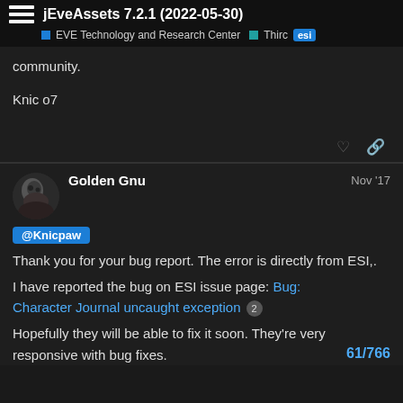jEveAssets 7.2.1 (2022-05-30)
EVE Technology and Research Center  Third  esi
community.
Knic o7
Golden Gnu  Nov '17
@Knicpaw
Thank you for your bug report. The error is directly from ESI,.
I have reported the bug on ESI issue page: Bug: Character Journal uncaught exception 2
Hopefully they will be able to fix it soon. They're very responsive with bug fixes.
61/766